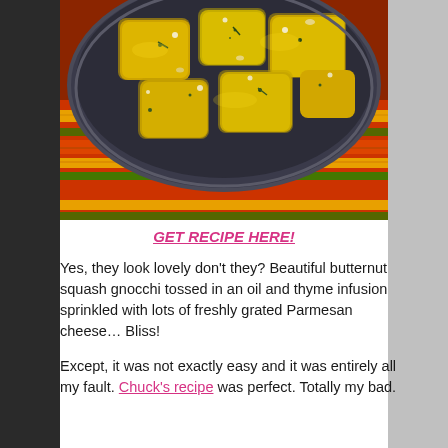[Figure (photo): A dark bowl filled with golden butternut squash gnocchi pieces tossed with herbs and grated Parmesan cheese, placed on a colorful striped cloth napkin with autumn colors (red, orange, yellow, green stripes).]
GET RECIPE HERE!
Yes, they look lovely don't they? Beautiful butternut squash gnocchi tossed in an oil and thyme infusion sprinkled with lots of freshly grated Parmesan cheese… Bliss!
Except, it was not exactly easy and it was entirely all my fault. Chuck's recipe was perfect. Totally my bad.